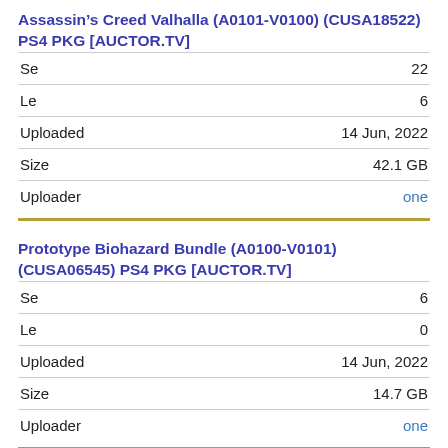Assassin&rsquo;s Creed Valhalla (A0101-V0100) (CUSA18522) PS4 PKG [AUCTOR.TV]
| Field | Value |
| --- | --- |
| Se | 22 |
| Le | 6 |
| Uploaded | 14 Jun, 2022 |
| Size | 42.1 GB |
| Uploader | one |
Prototype Biohazard Bundle (A0100-V0101) (CUSA06545) PS4 PKG [AUCTOR.TV]
| Field | Value |
| --- | --- |
| Se | 6 |
| Le | 0 |
| Uploaded | 14 Jun, 2022 |
| Size | 14.7 GB |
| Uploader | one |